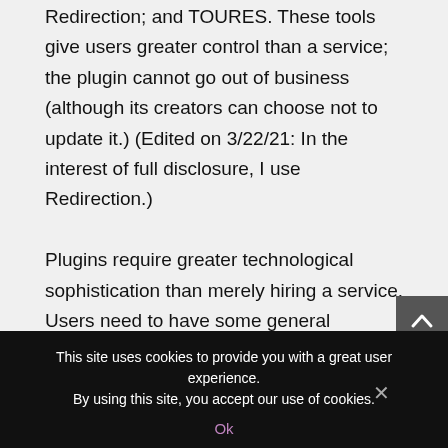Redirection; and TOURES. These tools give users greater control than a service; the plugin cannot go out of business (although its creators can choose not to update it.) (Edited on 3/22/21: In the interest of full disclosure, I use Redirection.) Plugins require greater technological sophistication than merely hiring a service. Users need to have some general knowledge of how their website handles information when a user requests a page
This site uses cookies to provide you with a great user experience. By using this site, you accept our use of cookies.
Ok